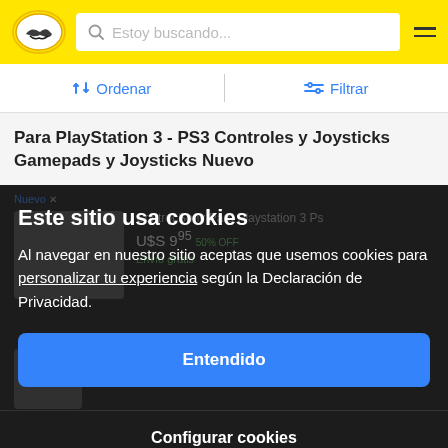[Figure (logo): MercadoLibre logo - yellow oval with handshake icon]
Estoy buscando...
↕ Ordenar
⇌ Filtrar
Para PlayStation 3 - PS3 Controles y Joysticks Gamepads y Joysticks Nuevo
Este sitio usa cookies
Al navegar en nuestro sitio aceptas que usemos cookies para personalizar tu experiencia según la Declaración de Privacidad.
Entendido
Configurar cookies
Nuevo ×
Control Sony Para Playstation 3 Ps
U$S 9,95 50% OFF
Envío gratis
Control Playstation 3 Inalámbrico
Dualshock 3 Cn